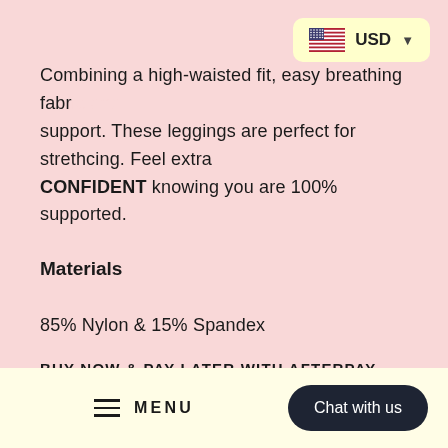[Figure (other): USD currency selector badge with US flag and dropdown arrow, yellow background]
Combining a high-waisted fit, easy breathing fabric and support. These leggings are perfect for strethcing. Feel extra CONFIDENT knowing you are 100% supported.
Materials
85% Nylon & 15% Spandex
BUY NOW & PAY LATER WITH AFTERPAY.
[Figure (screenshot): Bottom navigation bar with hamburger menu icon, MENU label, and Chat with us button on cream background]